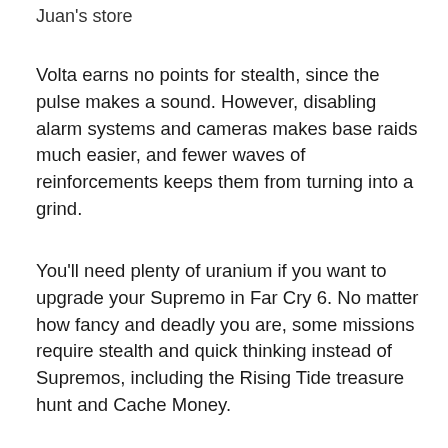Juan's store
Volta earns no points for stealth, since the pulse makes a sound. However, disabling alarm systems and cameras makes base raids much easier, and fewer waves of reinforcements keeps them from turning into a grind.
You'll need plenty of uranium if you want to upgrade your Supremo in Far Cry 6. No matter how fancy and deadly you are, some missions require stealth and quick thinking instead of Supremos, including the Rising Tide treasure hunt and Cache Money.